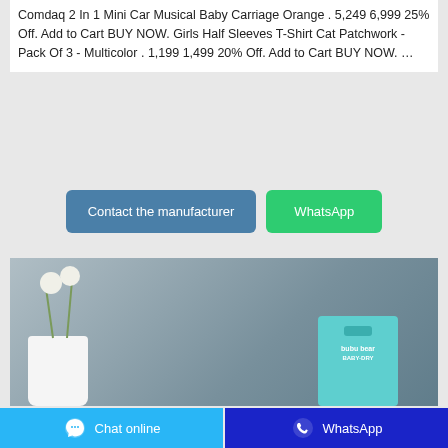Comdaq 2 In 1 Mini Car Musical Baby Carriage Orange . 5,249 6,999 25% Off. Add to Cart BUY NOW. Girls Half Sleeves T-Shirt Cat Patchwork - Pack Of 3 - Multicolor . 1,199 1,499 20% Off. Add to Cart BUY NOW. ...
[Figure (other): Two buttons side by side: 'Contact the manufacturer' (steel blue) and 'WhatsApp' (green)]
[Figure (photo): Product photo showing a teal/mint colored baby product box labeled 'bubu bear BABY-DRY' next to a white vase with decorative flowers, against a grey-blue background]
[Figure (other): Bottom bar with two buttons: 'Chat online' (light blue with chat bubble icon) and 'WhatsApp' (dark blue with WhatsApp icon)]